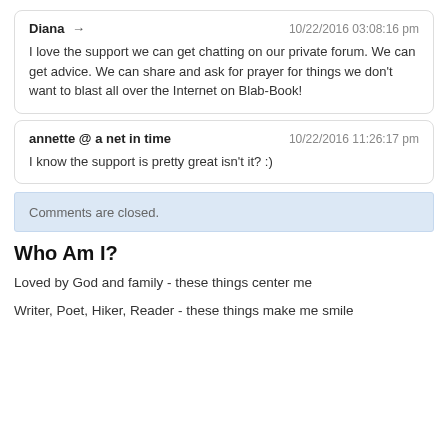Diana → 10/22/2016 03:08:16 pm
I love the support we can get chatting on our private forum. We can get advice. We can share and ask for prayer for things we don't want to blast all over the Internet on Blab-Book!
annette @ a net in time 10/22/2016 11:26:17 pm
I know the support is pretty great isn't it? :)
Comments are closed.
Who Am I?
Loved by God and family - these things center me
Writer, Poet, Hiker, Reader - these things make me smile